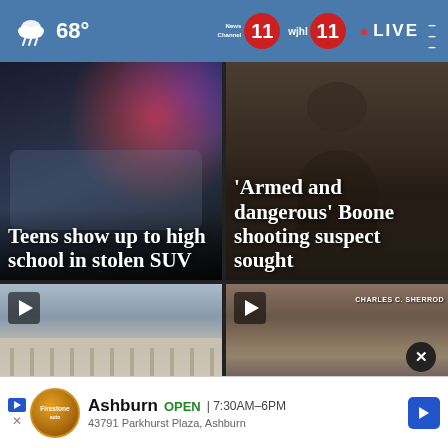68° News Channel 11 WJHL 11 • LIVE
[Figure (screenshot): Blurred police car with flashing lights at night — card for story: Teens show up to high school in stolen SUV]
Teens show up to high school in stolen SUV
[Figure (screenshot): Close-up of a young Black man's face and neck — card for story: 'Armed and dangerous' Boone shooting suspect sought]
'Armed and dangerous' Boone shooting suspect sought
[Figure (screenshot): Courthouse with columns — video card with play button for story about Virginia law/abortion]
Ab  becomes law in
[Figure (screenshot): Crowd outside Charles C. Sherrod building — video card with play button]
hold rally for
Virginia first state of Ashburn
Ashburn  OPEN | 7:30AM–6PM
43791 Parkhurst Plaza, Ashburn